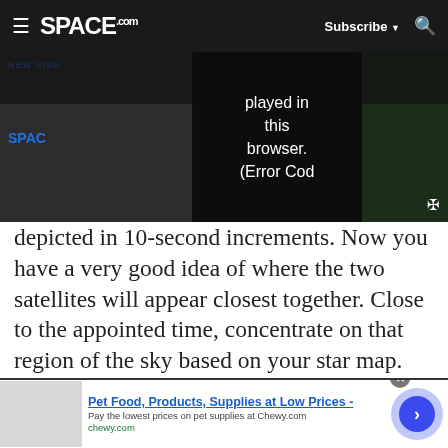SPACE.com — Subscribe — Search
[Figure (screenshot): Video player area showing 'NEW VISU' and 'SPAC' text with error overlay reading 'played in this browser. (Error Cod']
depicted in 10-second increments. Now you have a very good idea of where the two satellites will appear closest together. Close to the appointed time, concentrate on that region of the sky based on your star map.
Advertisement
[Figure (screenshot): Samsung advertisement banner with SAMSUNG logo in blue]
[Figure (screenshot): Bottom banner advertisement: Pet Food, Products, Supplies at Low Prices - Pay the lowest prices on pet supplies at Chewy.com — chewy.com]